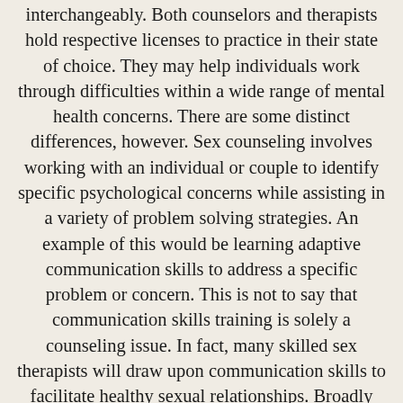interchangeably. Both counselors and therapists hold respective licenses to practice in their state of choice. They may help individuals work through difficulties within a wide range of mental health concerns. There are some distinct differences, however. Sex counseling involves working with an individual or couple to identify specific psychological concerns while assisting in a variety of problem solving strategies. An example of this would be learning adaptive communication skills to address a specific problem or concern. This is not to say that communication skills training is solely a counseling issue. In fact, many skilled sex therapists will draw upon communication skills to facilitate healthy sexual relationships. Broadly speaking, sex therapy involves a deeper look into the specific cognitive, emotional, and/or behavioral components surrounding a specific psychological or sexual concern. Your therapist will